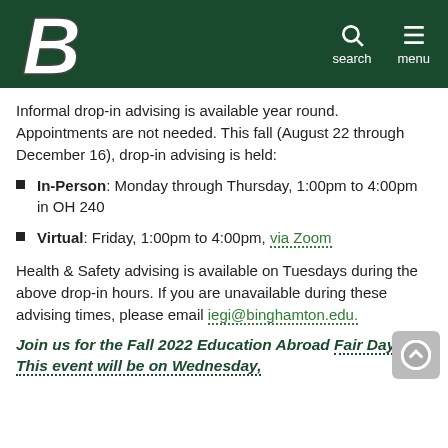Binghamton University header with logo B, search and menu icons
Informal drop-in advising is available year round. Appointments are not needed. This fall (August 22 through December 16), drop-in advising is held:
In-Person: Monday through Thursday, 1:00pm to 4:00pm in OH 240
Virtual: Friday, 1:00pm to 4:00pm, via Zoom
Health & Safety advising is available on Tuesdays during the above drop-in hours. If you are unavailable during these advising times, please email iegi@binghamton.edu.
Join us for the Fall 2022 Education Abroad Fair Days! This event will be on Wednesday,